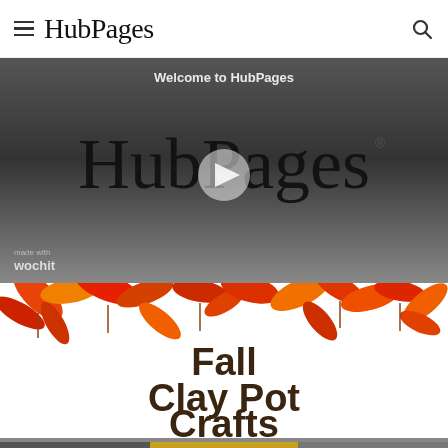HubPages
[Figure (screenshot): HubPages video player showing HubPages logo in dark gray background with play button overlay and wochit branding. Text 'Welcome to HubPages' at top.]
[Figure (illustration): Fall Clay Pot Crafts promotional image with colorful autumn leaves (red, orange, yellow) arranged along the top border and bold dark text reading 'Fall Clay Pot Crafts' in the center/lower portion.]
[Figure (screenshot): Bottom strip showing partial images of article thumbnails.]